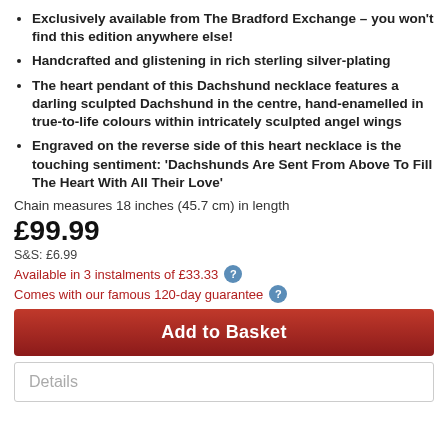Exclusively available from The Bradford Exchange – you won't find this edition anywhere else!
Handcrafted and glistening in rich sterling silver-plating
The heart pendant of this Dachshund necklace features a darling sculpted Dachshund in the centre, hand-enamelled in true-to-life colours within intricately sculpted angel wings
Engraved on the reverse side of this heart necklace is the touching sentiment: 'Dachshunds Are Sent From Above To Fill The Heart With All Their Love'
Chain measures 18 inches (45.7 cm) in length
£99.99
S&S: £6.99
Available in 3 instalments of £33.33
Comes with our famous 120-day guarantee
Add to Basket
Details